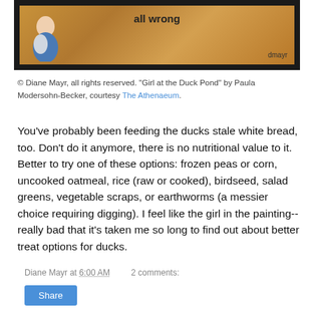[Figure (illustration): Painting excerpt showing 'all wrong' text and 'dmayr' signature over a warm brown/orange background with a partial figure in blue and white, framed in dark border.]
© Diane Mayr, all rights reserved. "Girl at the Duck Pond" by Paula Modersohn-Becker, courtesy The Athenaeum.
You've probably been feeding the ducks stale white bread, too. Don't do it anymore, there is no nutritional value to it. Better to try one of these options: frozen peas or corn, uncooked oatmeal, rice (raw or cooked), birdseed, salad greens, vegetable scraps, or earthworms (a messier choice requiring digging). I feel like the girl in the painting--really bad that it's taken me so long to find out about better treat options for ducks.
Diane Mayr at 6:00 AM   2 comments: